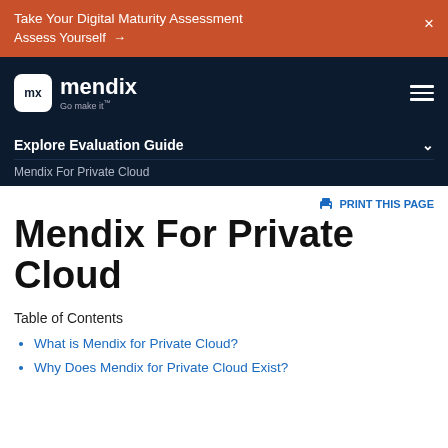Take Your Digital Maturity Assessment
Assess Yourself →
[Figure (logo): Mendix logo with 'mx' icon and 'Go make it' tagline on dark navy background]
Explore Evaluation Guide
Mendix For Private Cloud
PRINT THIS PAGE
Mendix For Private Cloud
Table of Contents
What is Mendix for Private Cloud?
Why Does Mendix for Private Cloud Exist?